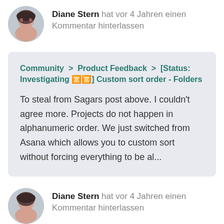Diane Stern hat vor 4 Jahren einen Kommentar hinterlassen
Community > Product Feedback > [Status: Investigating 🈺🈺] Custom sort order - Folders
To steal from Sagars post above. I couldn't agree more. Projects do not happen in alphanumeric order. We just switched from Asana which allows you to custom sort without forcing everything to be al...
Diane Stern hat vor 4 Jahren einen Kommentar hinterlassen